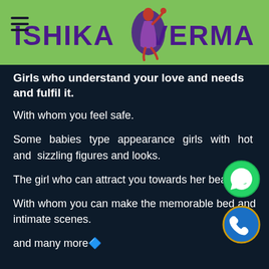ISHIKA VERMA
Girls who understand your love and needs and fulfil it.
With whom you feel safe.
Some babies type appearance girls with hot and sizzling figures and looks.
The girl who can attract you towards her beauty.
With whom you can make the memorable bed and intimate scenes.
and many more🔷
[Figure (illustration): WhatsApp contact button - green circle with white WhatsApp logo]
[Figure (illustration): Phone call button - blue/gold circle with white phone handset icon]